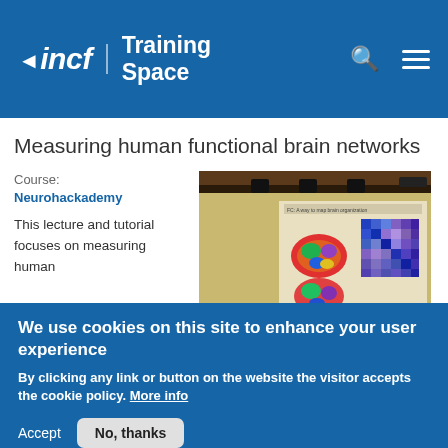incf | Training Space
Measuring human functional brain networks
Course:
Neurohackademy
This lecture and tutorial focuses on measuring human
[Figure (photo): Screenshot of a presentation slide showing a colorful brain parcellation map and a connectivity matrix, displayed on a monitor in a lecture room.]
We use cookies on this site to enhance your user experience
By clicking any link or button on the website the visitor accepts the cookie policy. More info
Accept   No, thanks